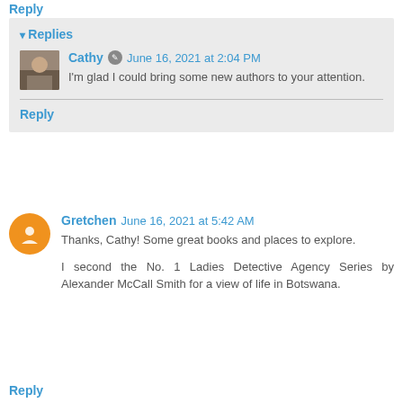Reply
Replies
Cathy · June 16, 2021 at 2:04 PM
I'm glad I could bring some new authors to your attention.
Reply
Gretchen  June 16, 2021 at 5:42 AM
Thanks, Cathy! Some great books and places to explore.
I second the No. 1 Ladies Detective Agency Series by Alexander McCall Smith for a view of life in Botswana.
Reply